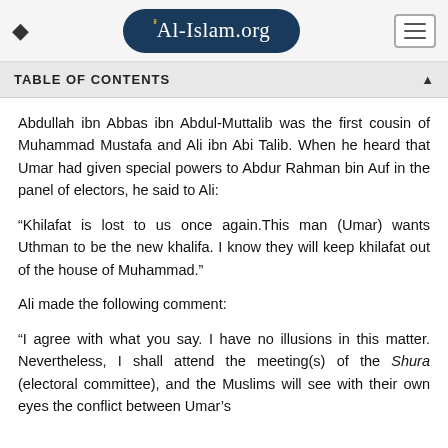Al-Islam.org
TABLE OF CONTENTS
Abdullah ibn Abbas ibn Abdul-Muttalib was the first cousin of Muhammad Mustafa and Ali ibn Abi Talib. When he heard that Umar had given special powers to Abdur Rahman bin Auf in the panel of electors, he said to Ali:
“Khilafat is lost to us once again.This man (Umar) wants Uthman to be the new khalifa. I know they will keep khilafat out of the house of Muhammad.”
Ali made the following comment:
“I agree with what you say. I have no illusions in this matter. Nevertheless, I shall attend the meeting(s) of the Shura (electoral committee), and the Muslims will see with their own eyes the conflict between Umar’s